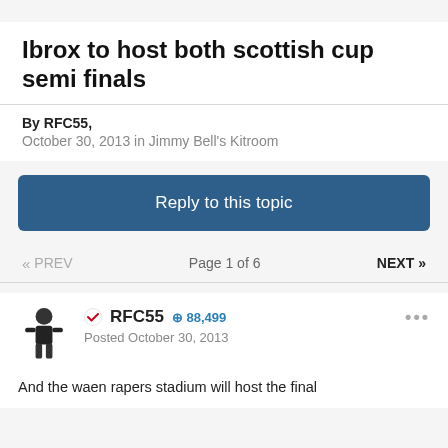Ibrox to host both scottish cup semi finals
By RFC55,
October 30, 2013 in Jimmy Bell's Kitroom
Reply to this topic
« PREV   Page 1 of 6   NEXT »
RFC55  88,499
Posted October 30, 2013
And the waen rapers stadium will host the final